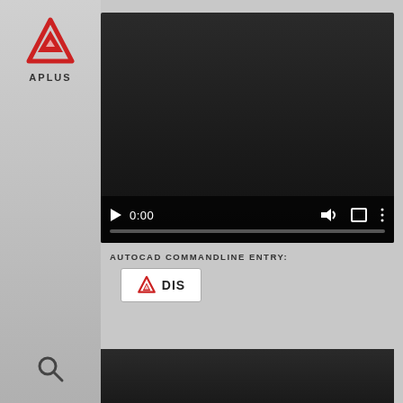[Figure (logo): APLUS logo — red triangle/chevron with APLUS text below, on gray sidebar]
[Figure (screenshot): Video player with dark background showing media controls: play button, time 0:00, volume, fullscreen, and more options icons, with a progress bar at bottom]
AUTOCAD COMMANDLINE ENTRY:
[Figure (logo): Small APLUS logo icon followed by text 'DIS' in a white bordered button]
[Figure (screenshot): Bottom portion of a second dark video player area]
[Figure (logo): Search/magnifying glass icon at bottom of left sidebar]